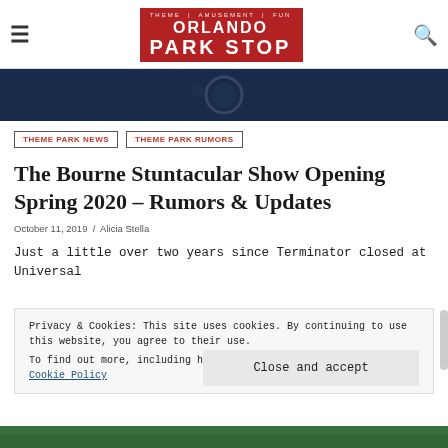Orlando Park Stop
[Figure (screenshot): Dark blue banner hero image with circular element, website header graphic]
THEME PARK NEWS
THEME PARK RUMORS
The Bourne Stuntacular Show Opening Spring 2020 – Rumors & Updates
October 11, 2019 / Alicia Stella
Just a little over two years since Terminator closed at Universal
Privacy & Cookies: This site uses cookies. By continuing to use this website, you agree to their use.
To find out more, including how to control cookies, see here: Cookie Policy
Close and accept
[Figure (photo): Bottom strip showing outdoor scene with greenery]